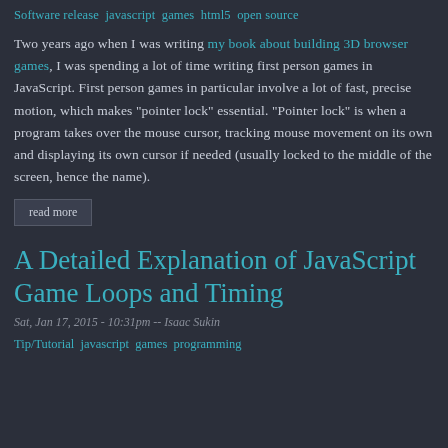Software release  javascript  games  html5  open source
Two years ago when I was writing my book about building 3D browser games, I was spending a lot of time writing first person games in JavaScript. First person games in particular involve a lot of fast, precise motion, which makes "pointer lock" essential. "Pointer lock" is when a program takes over the mouse cursor, tracking mouse movement on its own and displaying its own cursor if needed (usually locked to the middle of the screen, hence the name).
read more
A Detailed Explanation of JavaScript Game Loops and Timing
Sat, Jan 17, 2015 - 10:31pm -- Isaac Sukin
Tip/Tutorial  javascript  games  programming